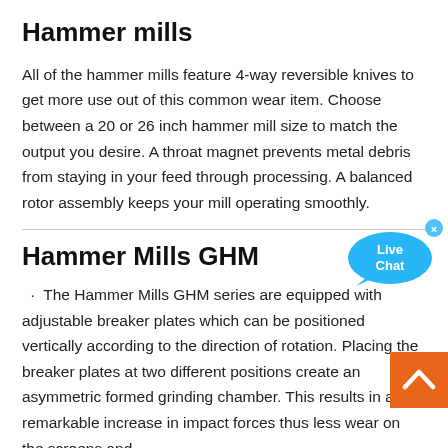Hammer mills
All of the hammer mills feature 4-way reversible knives to get more use out of this common wear item. Choose between a 20 or 26 inch hammer mill size to match the output you desire. A throat magnet prevents metal debris from staying in your feed through processing. A balanced rotor assembly keeps your mill operating smoothly.
Hammer Mills GHM
· The Hammer Mills GHM series are equipped with adjustable breaker plates which can be positioned vertically according to the direction of rotation. Placing the breaker plates at two different positions create an asymmetric formed grinding chamber. This results in a remarkable increase in impact forces thus less wear on the screens and